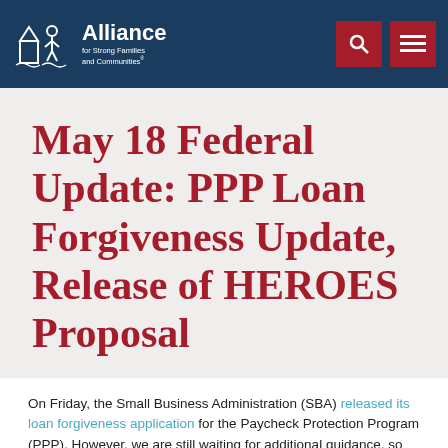Alliance for Strong Families and Communities
May 18 Federal Update: PPP Loan Forgiveness Update, Release of HEROES Proposal
On Friday, the Small Business Administration (SBA) released its loan forgiveness application for the Paycheck Protection Program (PPP). However, we are still waiting for additional guidance, so this